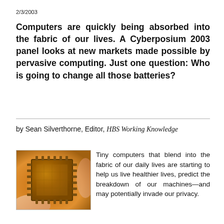2/3/2003
Computers are quickly being absorbed into the fabric of our lives. A Cyberposium 2003 panel looks at new markets made possible by pervasive computing. Just one question: Who is going to change all those batteries?
by Sean Silverthorne, Editor, HBS Working Knowledge
[Figure (photo): Close-up photo of a gold microchip/processor being held by fingers, with visible pins around the edges.]
Tiny computers that blend into the fabric of our daily lives are starting to help us live healthier lives, predict the breakdown of our machines—and may potentially invade our privacy.